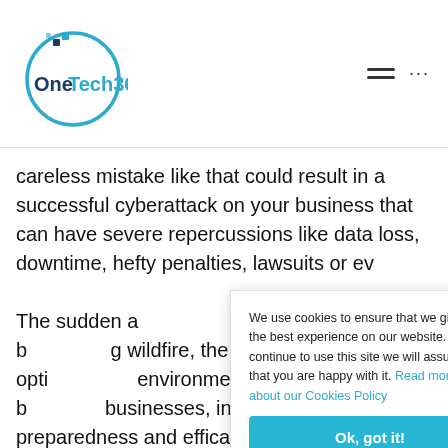[Figure (logo): OneTech360 logo with circular blue ring and text]
careless mistake like that could result in a successful cyberattack on your business that can have severe repercussions like data loss, downtime, hefty penalties, lawsuits or ev…
The sudden a… of panic among b… wildfire, the w… available opti… environment. remote work b… businesses, in… between the preparedness and efficacy of your backup
We use cookies to ensure that we give you the best experience on our website. If you continue to use this site we will assume that you are happy with it. Read more about our Cookies Policy
Ok, got it!